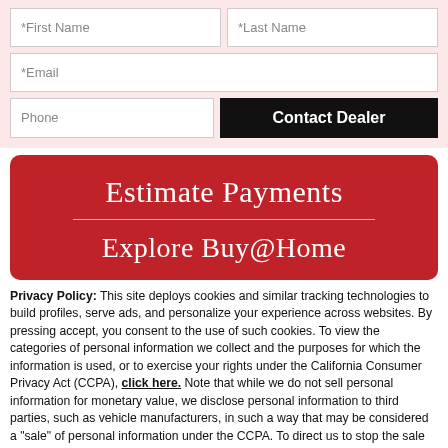[Figure (screenshot): Web form with First Name, Last Name, Email, Phone fields and Contact Dealer button on pink background]
[Figure (screenshot): Red banner with 'Estimate Payments' heading and partial 'Explore Buy@Home' text below a horizontal rule]
Privacy Policy: This site deploys cookies and similar tracking technologies to build profiles, serve ads, and personalize your experience across websites. By pressing accept, you consent to the use of such cookies. To view the categories of personal information we collect and the purposes for which the information is used, or to exercise your rights under the California Consumer Privacy Act (CCPA), click here. Note that while we do not sell personal information for monetary value, we disclose personal information to third parties, such as vehicle manufacturers, in such a way that may be considered a "sale" of personal information under the CCPA. To direct us to stop the sale of your personal information, or to re-access these settings or disclosures at anytime, click the following icon or link:
Do Not Sell My Personal Information
Language: English
Powered by ComplyAuto
Accept and Continue → California Privacy Disclosures ×